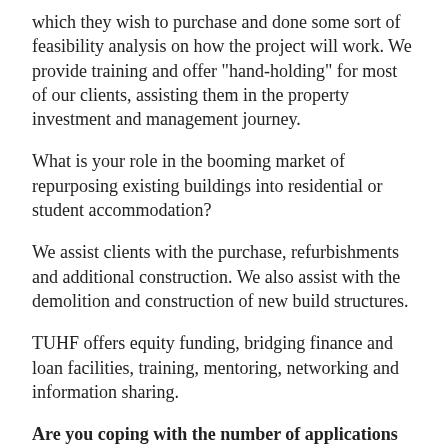which they wish to purchase and done some sort of feasibility analysis on how the project will work. We provide training and offer "hand-holding" for most of our clients, assisting them in the property investment and management journey.
What is your role in the booming market of repurposing existing buildings into residential or student accommodation?
We assist clients with the purchase, refurbishments and additional construction. We also assist with the demolition and construction of new build structures.
TUHF offers equity funding, bridging finance and loan facilities, training, mentoring, networking and information sharing.
Are you coping with the number of applications arising from the property market boom?
We have coped well with the demand for property